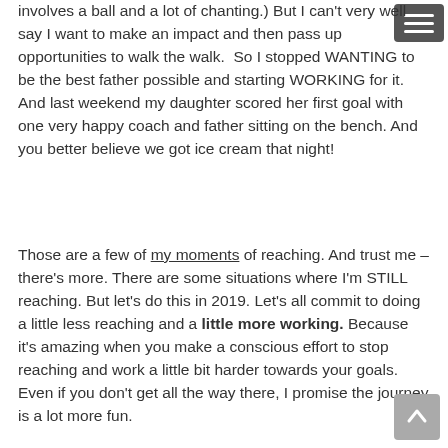involves a ball and a lot of chanting.) But I can't very well say I want to make an impact and then pass up opportunities to walk the walk.  So I stopped WANTING to be the best father possible and starting WORKING for it.  And last weekend my daughter scored her first goal with one very happy coach and father sitting on the bench. And you better believe we got ice cream that night!
Those are a few of my moments of reaching. And trust me – there's more. There are some situations where I'm STILL reaching. But let's do this in 2019. Let's all commit to doing a little less reaching and a little more working. Because it's amazing when you make a conscious effort to stop reaching and work a little bit harder towards your goals. Even if you don't get all the way there, I promise the journey is a lot more fun.